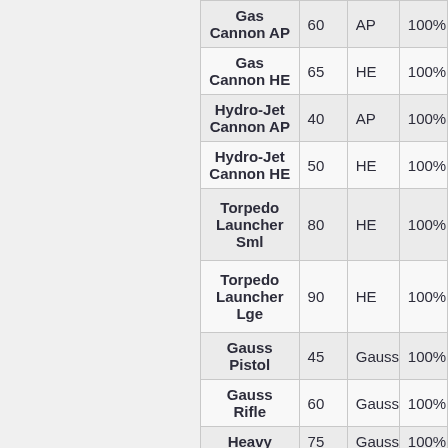| Name | Damage | Type | Accuracy |
| --- | --- | --- | --- |
| Gas Cannon AP | 60 | AP | 100% |
| Gas Cannon HE | 65 | HE | 100% |
| Hydro-Jet Cannon AP | 40 | AP | 100% |
| Hydro-Jet Cannon HE | 50 | HE | 100% |
| Torpedo Launcher Sml | 80 | HE | 100% |
| Torpedo Launcher Lge | 90 | HE | 100% |
| Gauss Pistol | 45 | Gauss | 100% |
| Gauss Rifle | 60 | Gauss | 100% |
| Heavy [...] | 75 | Gauss | 100% |